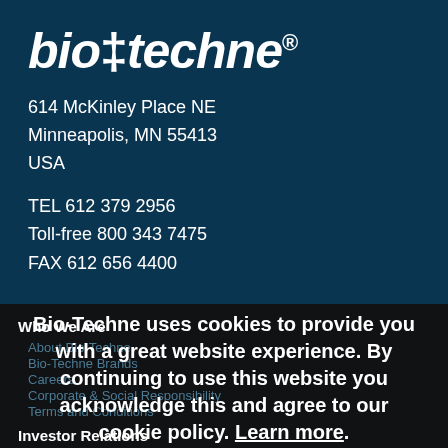bio-techne®
614 McKinley Place NE
Minneapolis, MN 55413
USA
TEL 612 379 2956
Toll-free 800 343 7475
FAX 612 656 4400
Who We Are
About Bio-Techne
Bio-Techne Brands
Careers
Corporate & Social Responsibility
Terms and Conditions
Investor Relations
Bio-Techne uses cookies to provide you with a great website experience. By continuing to use this website you acknowledge this and agree to our cookie policy. Learn more.
Overview
News / Events